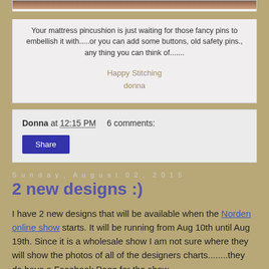[Figure (photo): Partial photo of a mattress pincushion craft project, cropped at top]
Your mattress pincushion is just waiting for those fancy pins to embellish it with.....or you can add some buttons, old safety pins., any thing you can think of.......
Happy Stitching
donna
Donna at 12:15 PM    6 comments:
Share
Sunday, August 02, 2015
2 new designs :)
I have 2 new designs that will be available when the Norden online show starts. It will be running from Aug 10th until Aug 19th. Since it is a wholesale show I am not sure where they will show the photos of all of the designers charts........they do have a Facebook Page for the show.